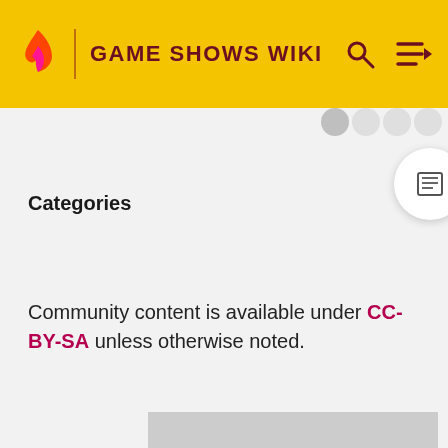GAME SHOWS WIKI
Categories
Community content is available under CC-BY-SA unless otherwise noted.
[Figure (other): Gray advertisement/content placeholder box]